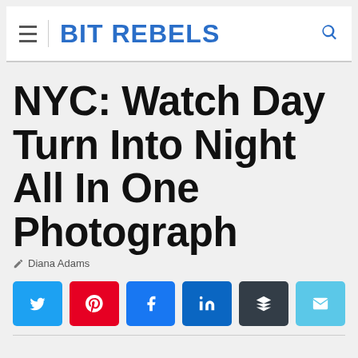BIT REBELS
NYC: Watch Day Turn Into Night All In One Photograph
Diana Adams
[Figure (infographic): Social media share buttons: Twitter (blue), Pinterest (red), Facebook (blue), LinkedIn (dark blue), Buffer (dark grey), Email (light blue)]